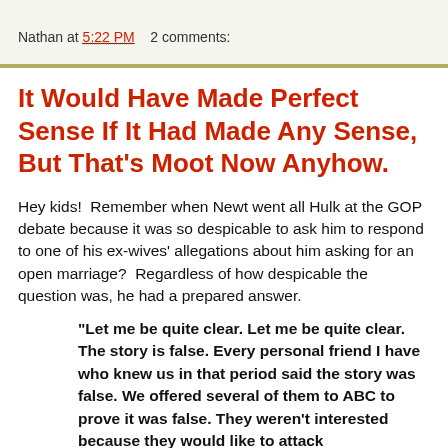Nathan at 5:22 PM    2 comments:
It Would Have Made Perfect Sense If It Had Made Any Sense, But That's Moot Now Anyhow.
Hey kids!  Remember when Newt went all Hulk at the GOP debate because it was so despicable to ask him to respond to one of his ex-wives' allegations about him asking for an open marriage?  Regardless of how despicable the question was, he had a prepared answer.
"Let me be quite clear. Let me be quite clear. The story is false. Every personal friend I have who knew us in that period said the story was false. We offered several of them to ABC to prove it was false. They weren't interested because they would like to attack